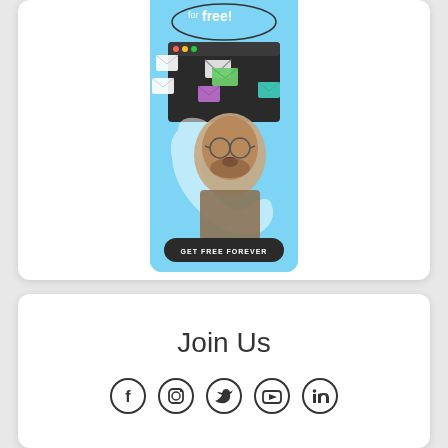[Figure (illustration): Ad banner showing a man with glasses and open mouth expression, surrounded by colorful email envelope icons, a browser window mockup, with 'for free!' text at top and a dark 'GET FREE FOREVER' button at bottom, on a light blue background]
Join Us
[Figure (illustration): Row of 5 social media icons: Facebook, Instagram, Twitter, YouTube, LinkedIn — all dark circular outlined icons]